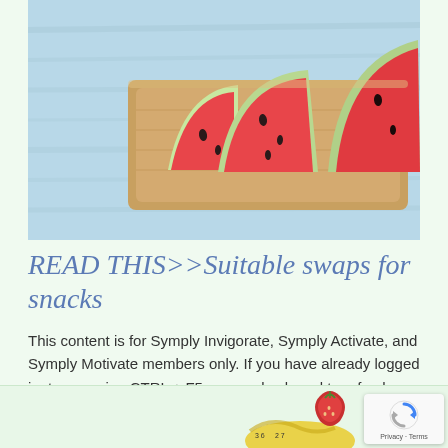[Figure (photo): Photo of sliced watermelon pieces on a wooden tray against a light blue wooden background]
READ THIS>>Suitable swaps for snacks
This content is for Symply Invigorate, Symply Activate, and Symply Motivate members only. If you have already logged in, try pressing CTRL + F5 on your keyboard to refresh your browser.
LOG IN
REGISTER
[Figure (photo): Partial view of food items including vegetables and a measuring tape at the bottom of the page]
[Figure (other): reCAPTCHA badge with Privacy and Terms text]